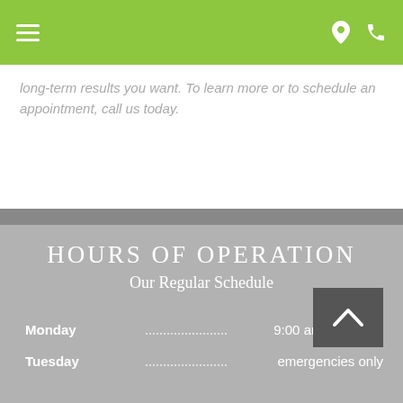Navigation bar with hamburger menu, location icon, and phone icon
long-term results you want. To learn more or to schedule an appointment, call us today.
HOURS OF OPERATION
Our Regular Schedule
| Day | Hours |
| --- | --- |
| Monday | 9:00 am - 5:00 pm |
| Tuesday | emergencies only |